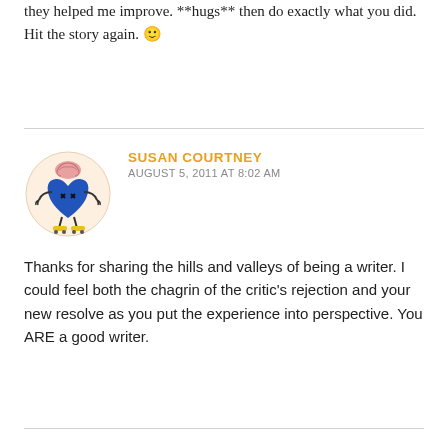they helped me improve. **hugs** then do exactly what you did. Hit the story again. 🙂
[Figure (illustration): Avatar illustration of a blue heart character with a brain on top, arms, and roller skates, on a light peach circular background]
SUSAN COURTNEY
AUGUST 5, 2011 AT 8:02 AM
Thanks for sharing the hills and valleys of being a writer. I could feel both the chagrin of the critic's rejection and your new resolve as you put the experience into perspective. You ARE a good writer.